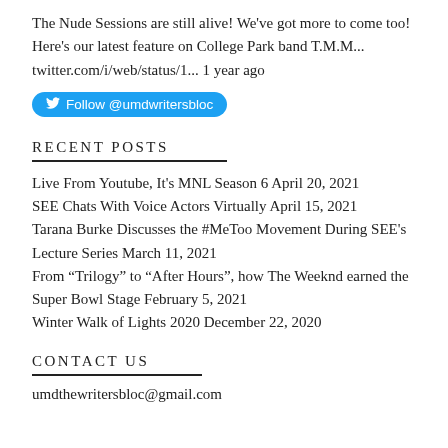The Nude Sessions are still alive! We've got more to come too! Here's our latest feature on College Park band T.M.M... twitter.com/i/web/status/1... 1 year ago
[Figure (other): Twitter Follow button: Follow @umdwritersbloc]
RECENT POSTS
Live From Youtube, It's MNL Season 6 April 20, 2021
SEE Chats With Voice Actors Virtually April 15, 2021
Tarana Burke Discusses the #MeToo Movement During SEE's Lecture Series March 11, 2021
From “Trilogy” to “After Hours”, how The Weeknd earned the Super Bowl Stage February 5, 2021
Winter Walk of Lights 2020 December 22, 2020
CONTACT US
umdthewritersbloc@gmail.com